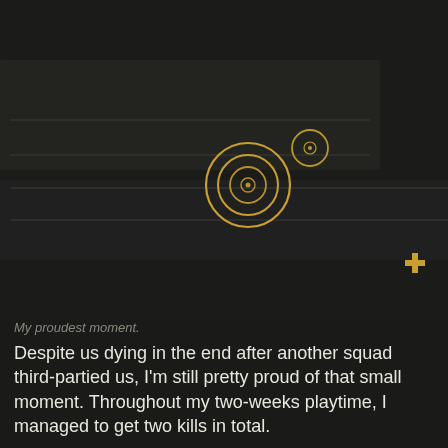[Figure (screenshot): Dark game screenshot (battle royale / shooter game) with a dark background showing UI elements including horizontal lines suggesting a scoreboard or stats screen, and two golden concentric circle target/scope reticle icons — one larger in the center-left area and one smaller to its upper right. A small golden cross/plus symbol appears at the far right edge of the frame.]
My proudest moment.
Despite us dying in the end after another squad third-partied us, I'm still pretty proud of that small moment. Throughout my two-weeks playtime, I managed to get two kills in total.